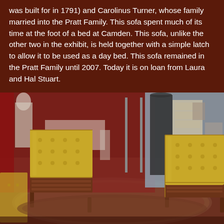was built for in 1791) and Carolinus Turner, whose family married into the Pratt Family. This sofa spent much of its time at the foot of a bed at Camden. This sofa, unlike the other two in the exhibit, is held together with a simple latch to allow it to be used as a day bed. This sofa remained in the Pratt Family until 2007. Today it is on loan from Laura and Hal Stuart.
[Figure (photo): Museum exhibit photo showing two antique yellow/gold tufted sofas with wooden slatted bases and dark wooden legs, displayed on an ornate rug in a museum setting. In the background are display panels, mannequins, and other museum artifacts.]